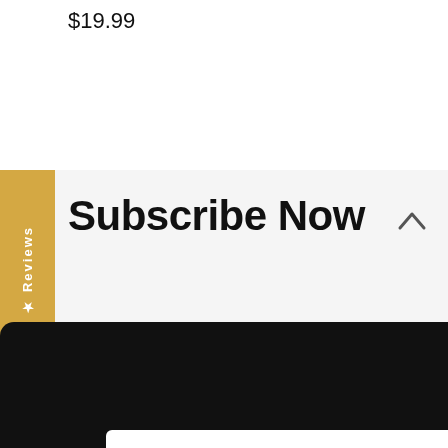$19.99
Subscribe Now
[Figure (screenshot): Yellow vertical tab on left side with 'Reviews' text rotated vertically and a star icon at bottom]
This website uses cookies to ensure you get the best experience on our website. Learn more
Decline
Allow Cookies